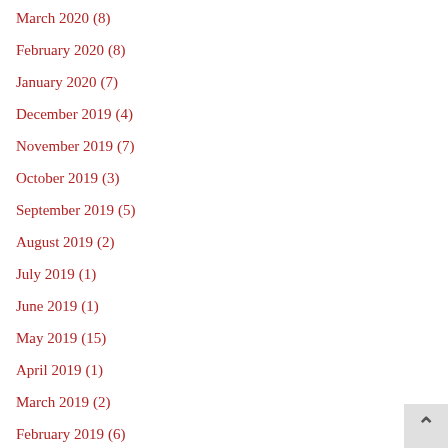March 2020 (8)
February 2020 (8)
January 2020 (7)
December 2019 (4)
November 2019 (7)
October 2019 (3)
September 2019 (5)
August 2019 (2)
July 2019 (1)
June 2019 (1)
May 2019 (15)
April 2019 (1)
March 2019 (2)
February 2019 (6)
January 2019 (5)